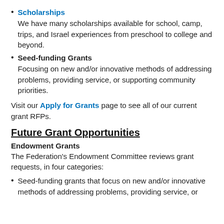Scholarships
We have many scholarships available for school, camp, trips, and Israel experiences from preschool to college and beyond.
Seed-funding Grants
Focusing on new and/or innovative methods of addressing problems, providing service, or supporting community priorities.
Visit our Apply for Grants page to see all of our current grant RFPs.
Future Grant Opportunities
Endowment Grants
The Federation's Endowment Committee reviews grant requests, in four categories:
Seed-funding grants that focus on new and/or innovative methods of addressing problems, providing service, or